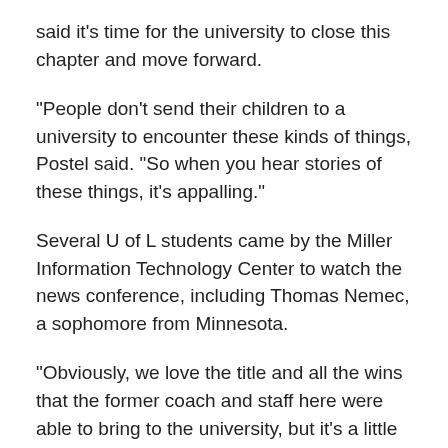said it's time for the university to close this chapter and move forward.
“People don’t send their children to a university to encounter these kinds of things, Postel said. “So when you hear stories of these things, it’s appalling.”
Several U of L students came by the Miller Information Technology Center to watch the news conference, including Thomas Nemec, a sophomore from Minnesota.
“Obviously, we love the title and all the wins that the former coach and staff here were able to bring to the university, but it’s a little weird because of the way the NCAA has been kind of inconsistent with its rulings recently,” Nemec said. “And obviously we’re not on their good side right now with everything